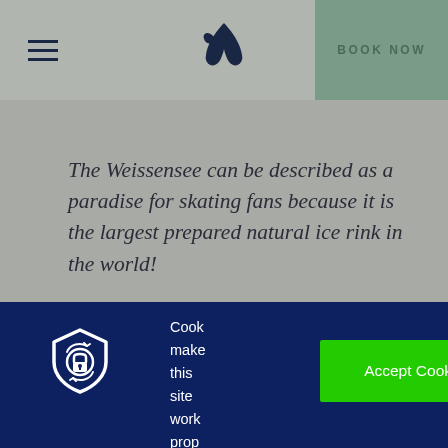BOOK NOW
[Figure (logo): Bird/swallow logo in dark navy]
The Weissensee can be described as a paradise for skating fans because it is the largest prepared natural ice rink in the world!
[Figure (illustration): Cookie/privacy shield icon in white on dark blue background]
Cook make this site work prop
Accept Cookies